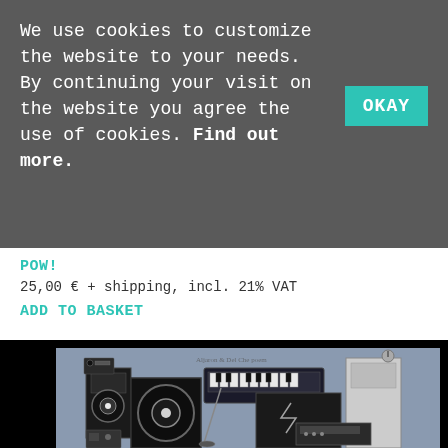We use cookies to customize the website to your needs. By continuing your visit on the website you agree the use of cookies. Find out more.
OKAY
POW!
25,00 € + shipping, incl. 21% VAT
ADD TO BASKET
[Figure (illustration): Illustration of music equipment including speakers, amplifiers, keyboards, and audio gear arranged in a still-life composition with blue-grey background and black border frame.]